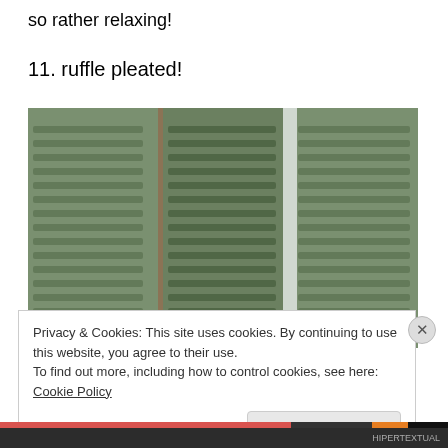so rather relaxing!
11. ruffle pleated!
[Figure (photo): Close-up photo of green ruffle pleated fabric arranged in horizontal pleats, showing three sections of the fabric laid out side by side.]
Privacy & Cookies: This site uses cookies. By continuing to use this website, you agree to their use.
To find out more, including how to control cookies, see here: Cookie Policy